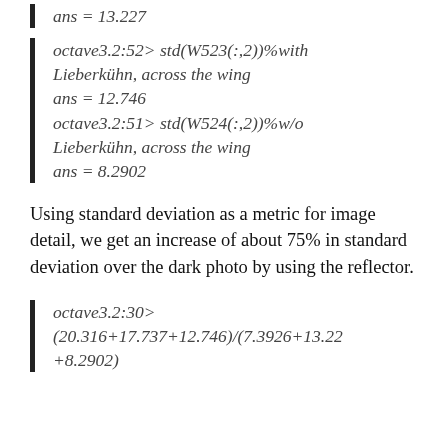ans = 13.227
octave3.2:52> std(W523(:,2))%with Lieberkühn, across the wing
ans = 12.746
octave3.2:51> std(W524(:,2))%w/o Lieberkühn, across the wing
ans = 8.2902
Using standard deviation as a metric for image detail, we get an increase of about 75% in standard deviation over the dark photo by using the reflector.
octave3.2:30>
(20.316+17.737+12.746)/(7.3926+13.22
+8.2902)